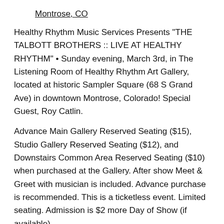Montrose, CO
Healthy Rhythm Music Services Presents "THE TALBOTT BROTHERS :: LIVE AT HEALTHY RHYTHM" • Sunday evening, March 3rd, in The Listening Room of Healthy Rhythm Art Gallery, located at historic Sampler Square (68 S Grand Ave) in downtown Montrose, Colorado! Special Guest, Roy Catlin.
Advance Main Gallery Reserved Seating ($15), Studio Gallery Reserved Seating ($12), and Downstairs Common Area Reserved Seating ($10) when purchased at the Gallery. After show Meet & Greet with musician is included. Advance purchase is recommended. This is a ticketless event. Limited seating. Admission is $2 more Day of Show (if available).
Doors open at 7:00 p.m. Concert starts at 7:30 p.m. Street and rear lot parking available.
SHARE